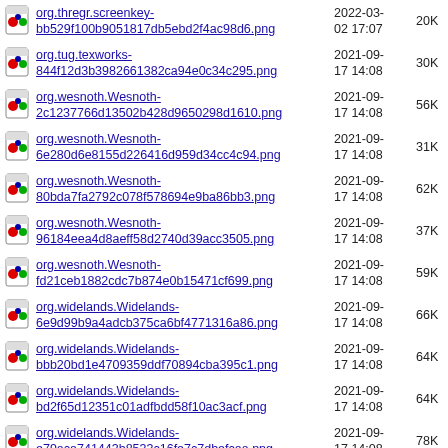org.thregr.screenkey-bb529f100b9051817db5ebd2f4ac98d6.png | 2022-03-02 17:07 | 20K
org.tug.texworks-844f12d3b3982661382ca94e0c34c295.png | 2021-09-17 14:08 | 30K
org.wesnoth.Wesnoth-2c1237766d13502b428d9650298d1610.png | 2021-09-17 14:08 | 56K
org.wesnoth.Wesnoth-6e280d6e8155d226416d959d34cc4c94.png | 2021-09-17 14:08 | 31K
org.wesnoth.Wesnoth-80bda7fa2792c078f578694e9ba86bb3.png | 2021-09-17 14:08 | 62K
org.wesnoth.Wesnoth-96184eea4d8aeff58d2740d39acc3505.png | 2021-09-17 14:08 | 37K
org.wesnoth.Wesnoth-fd21ceb1882cdc7b874e0b15471cf699.png | 2021-09-17 14:08 | 59K
org.widelands.Widelands-6e9d99b9a4adcb375ca6bf4771316a86.png | 2021-09-17 14:08 | 66K
org.widelands.Widelands-bbb20bd1e4709359ddf70894cba395c1.png | 2021-09-17 14:08 | 64K
org.widelands.Widelands-bd2f65d12351c01adfbdd58f10ac3acf.png | 2021-09-17 14:08 | 64K
org.widelands.Widelands-e79aca741443b8533c16fe7c7dbefcaa.png | 2021-09-17 14:08 | 78K